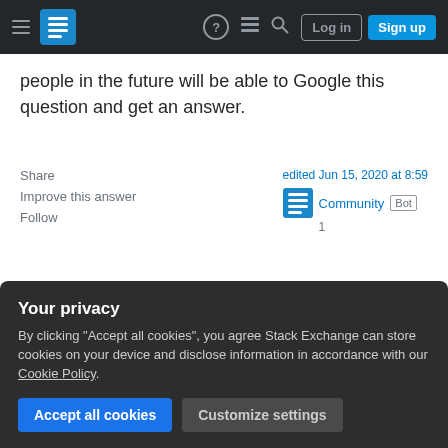Stack Exchange navigation bar with Log in and Sign up buttons
people in the future will be able to Google this question and get an answer.
Share  Improve this answer  Follow
edited Jun 15, 2020 at 8:59  Community Bot 1
answered Jul 13, 2018 at 23:13  Grant Davis  928  8  10
Add a comment
Your privacy
By clicking "Accept all cookies", you agree Stack Exchange can store cookies on your device and disclose information in accordance with our Cookie Policy.
Accept all cookies  Customize settings